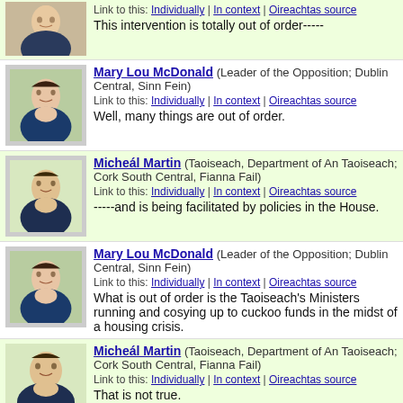Link to this: Individually | In context | Oireachtas source
This intervention is totally out of order-----
Mary Lou McDonald (Leader of the Opposition; Dublin Central, Sinn Fein)
Link to this: Individually | In context | Oireachtas source
Well, many things are out of order.
Micheál Martin (Taoiseach, Department of An Taoiseach; Cork South Central, Fianna Fail)
Link to this: Individually | In context | Oireachtas source
-----and is being facilitated by policies in the House.
Mary Lou McDonald (Leader of the Opposition; Dublin Central, Sinn Fein)
Link to this: Individually | In context | Oireachtas source
What is out of order is the Taoiseach's Ministers running and cosying up to cuckoo funds in the midst of a housing crisis.
Micheál Martin (Taoiseach, Department of An Taoiseach; Cork South Central, Fianna Fail)
Link to this: Individually | In context | Oireachtas source
That is not true.